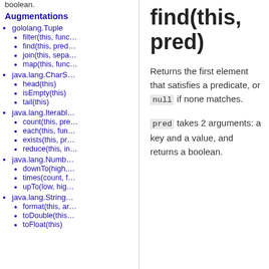boolean.
Augmentations
gololang.Tuple
filter(this, func…
find(this, pred…
join(this, sepa…
map(this, func…
java.lang.CharS…
head(this)
isEmpty(this)
tail(this)
java.lang.Iterabl…
count(this, pre…
each(this, fun…
exists(this, pr…
reduce(this, in…
java.lang.Numb…
downTo(high,…
times(count, f…
upTo(low, hig…
java.lang.String…
format(this, ar…
toDouble(this…
toFloat(this)
find(this, pred)
Returns the first element that satisfies a predicate, or null if none matches.
pred takes 2 arguments: a key and a value, and returns a boolean.